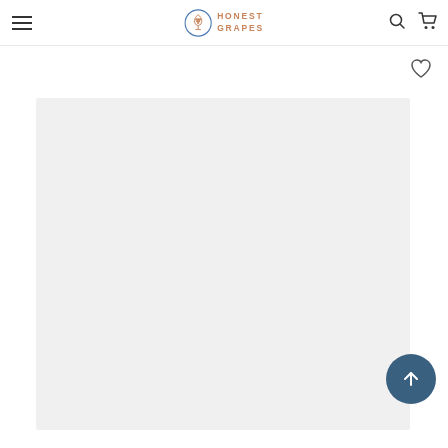Honest Grapes — navigation bar with hamburger menu, logo, search and cart icons
[Figure (screenshot): Honest Grapes website header with hamburger menu on left, circular logo with wine glass icon and 'HONEST GRAPES' text in salmon/copper color in center, search and cart icons on right]
[Figure (other): Heart/wishlist icon in top right area below header]
[Figure (other): Large light gray product image placeholder area]
[Figure (other): Dark teal/blue circular scroll-to-top button with white upward arrow]